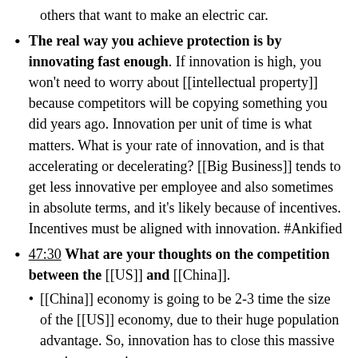others that want to make an electric car.
The real way you achieve protection is by innovating fast enough. If innovation is high, you won't need to worry about [[intellectual property]] because competitors will be copying something you did years ago. Innovation per unit of time is what matters. What is your rate of innovation, and is that accelerating or decelerating? [[Big Business]] tends to get less innovative per employee and also sometimes in absolute terms, and it's likely because of incentives. Incentives must be aligned with innovation. #Ankified
47:30 What are your thoughts on the competition between the [[US]] and [[China]].
[[China]] economy is going to be 2-3 time the size of the [[US]] economy, due to their huge population advantage. So, innovation has to close this massive gap in economic output.